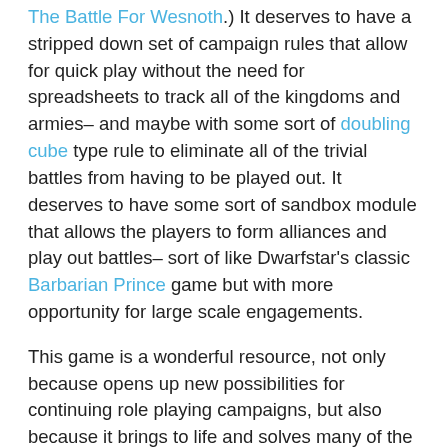The Battle For Wesnoth.) It deserves to have a stripped down set of campaign rules that allow for quick play without the need for spreadsheets to track all of the kingdoms and armies– and maybe with some sort of doubling cube type rule to eliminate all of the trivial battles from having to be played out. It deserves to have some sort of sandbox module that allows the players to form alliances and play out battles– sort of like Dwarfstar's classic Barbarian Prince game but with more opportunity for large scale engagements.
This game is a wonderful resource, not only because opens up new possibilities for continuing role playing campaigns, but also because it brings to life and solves many of the problems surrounding the domain level play that is an integral part to the earliest role playing games. From a board gaming standpoint, it is not quite the complete package that something like Commands & Colors: Ancients is… but it nevertheless allows for a much tighter integration with the tropes and elements of role-playing games. While you might not fall into the target audience of this game's niche, it nevertheless brings a great deal to the